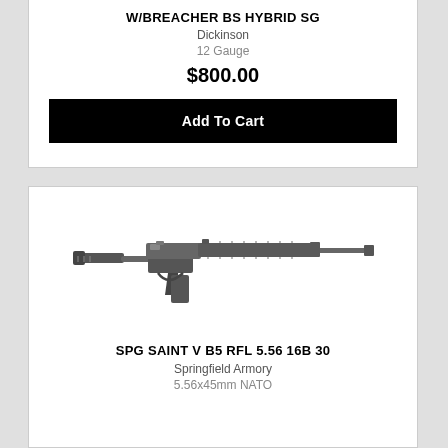W/BREACHER BS HYBRID SG
Dickinson
12 Gauge
$800.00
Add To Cart
[Figure (photo): Photo of SPG SAINT V B5 RFL 5.56 16B 30 rifle — a black AR-15 style semi-automatic rifle with collapsible stock, pistol grip, and long handguard rail]
SPG SAINT V B5 RFL 5.56 16B 30
Springfield Armory
5.56x45mm NATO